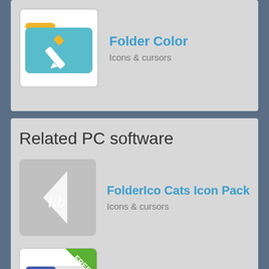[Figure (screenshot): App listing for Folder Color showing folder icon with blue background and pencil, category: Icons & cursors]
Related PC software
[Figure (screenshot): App listing for FolderIco Cats Icon Pack showing lib icon pack logo, category: Icons & cursors]
[Figure (screenshot): App listing for Folder Icon Changer with FREE badge, showing folder with gears icon, category: Icons & cursors]
[Figure (screenshot): Featured section showing a laptop on orange/yellow background]